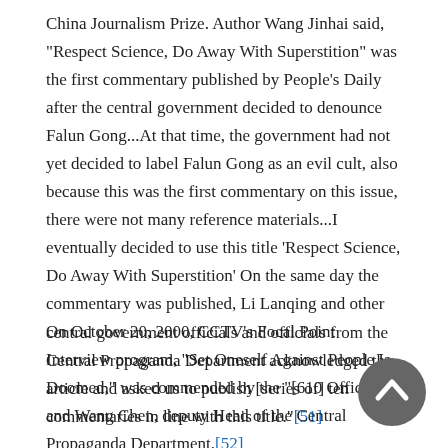China Journalism Prize. Author Wang Jinhai said, "Respect Science, Do Away With Superstition" was the first commentary published by People's Daily after the central government decided to denounce Falun Gong...At that time, the government had not yet decided to label Falun Gong as an evil cult, also because this was the first commentary on this issue, there were not many reference materials...I eventually decided to use this title 'Respect Science, Do Away With Superstition' On the same day the commentary was published, Li Lanqing and other central government officials and officials from the Central Propaganda Department acknowledged the article and asked us to publish [series of] ten commentaries in line with this title."[51]
On October 20, 2000, CCTV's Focal Point Interview program, "Set Oneself Against People Is Doomed," was commended by the "[610 Office" and Wang Chen, deputy Head of the Central Propaganda Department.[52]